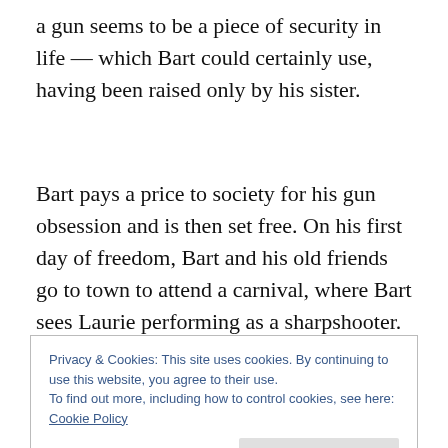a gun seems to be a piece of security in life — which Bart could certainly use, having been raised only by his sister.
Bart pays a price to society for his gun obsession and is then set free. On his first day of freedom, Bart and his old friends go to town to attend a carnival, where Bart sees Laurie performing as a sharpshooter. Sparks (and bullets) fly quickly between the two.
Privacy & Cookies: This site uses cookies. By continuing to use this website, you agree to their use.
To find out more, including how to control cookies, see here: Cookie Policy
whatever they want in life. At first, Bart hesitates at getting